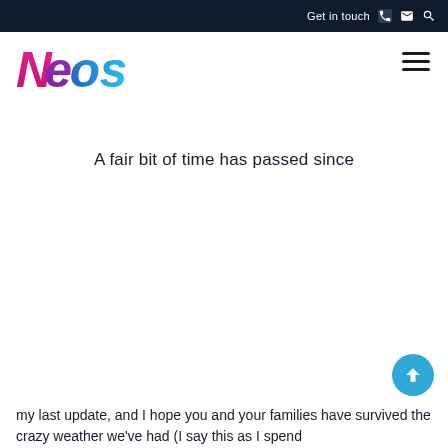Get in touch
[Figure (logo): NEOS logo with gradient lettering — N in magenta/pink, E in purple, O in blue gradient, S in cyan/blue]
A fair bit of time has passed since
my last update, and I hope you and your families have survived the crazy weather we've had (I say this as I spend